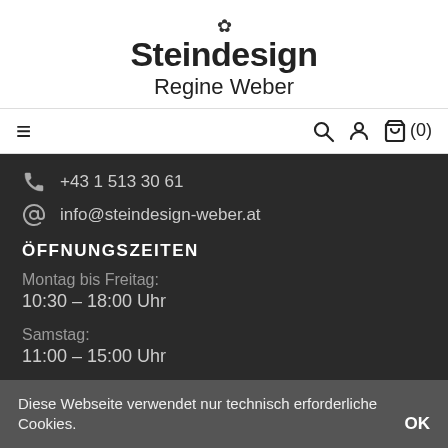[Figure (logo): Steindesign Regine Weber logo with decorative snowflake/flower symbol above the text]
≡   🔍 👤 🛒 (0)
+43 1 513 30 61
info@steindesign-weber.at
ÖFFNUNGSZEITEN
Montag bis Freitag:
10:30 – 18:00 Uhr
Samstag:
11:00 – 15:00 Uhr
Diese Webseite verwendet nur technisch erforderliche Cookies.